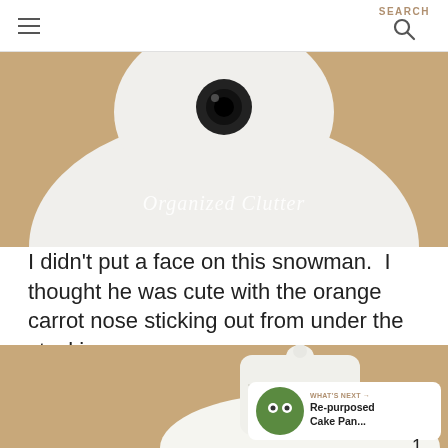SEARCH
[Figure (photo): Top-down view of a white snowman body against a cardboard/tan background, with watermark text 'Organized Clutter']
I didn't put a face on this snowman.  I thought he was cute with the orange carrot nose sticking out from under the stocking cap.
[Figure (photo): Close-up photo showing a white knitted stocking cap with a small white pompom on top, and an orange carrot nose visible underneath, against a tan cardboard background. Overlaid with 'WHAT'S NEXT → Re-purposed Cake Pan...' widget.]